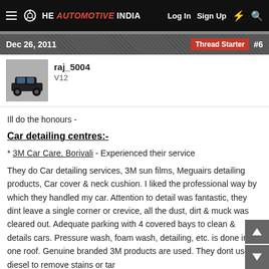THE AUTOMOTIVE INDIA | Log In  Sign Up  ⚡  🔍
Dec 26, 2011    Thread Starter  #6
raj_5004
V12
Ill do the honours -
Car detailing centres:-
* 3M Car Care, Borivali - Experienced their service
They do Car detailing services, 3M sun films, Meguairs detailing products, Car cover & neck cushion. I liked the professional way by which they handled my car. Attention to detail was fantastic, they dint leave a single corner or crevice, all the dust, dirt & muck was cleared out. Adequate parking with 4 covered bays to clean & details cars. Pressure wash, foam wash, detailing, etc. is done in one roof. Genuine branded 3M products are used. They dont use diesel to remove stains or tar